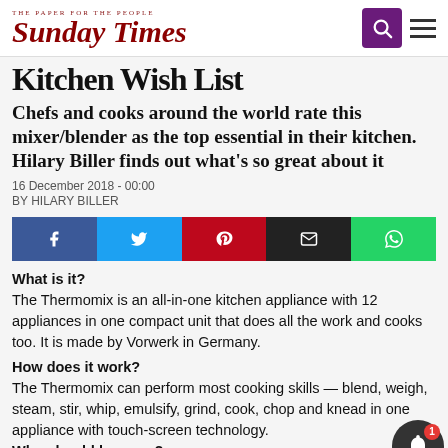THE PAPER FOR THE PEOPLE
Sunday Times
Kitchen Wish List
Chefs and cooks around the world rate this mixer/blender as the top essential in their kitchen. Hilary Biller finds out what's so great about it
16 December 2018 - 00:00
BY HILARY BILLER
[Figure (infographic): Social share bar with Facebook, Twitter, Pinterest, Email, WhatsApp buttons]
What is it?
The Thermomix is an all-in-one kitchen appliance with 12 appliances in one compact unit that does all the work and cooks too. It is made by Vorwerk in Germany.
How does it work?
The Thermomix can perform most cooking skills — blend, weigh, steam, stir, whip, emulsify, grind, cook, chop and knead in one appliance with touch-screen technology.
Who should buy one?